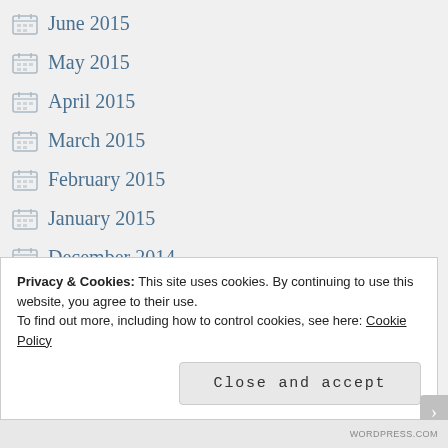June 2015
May 2015
April 2015
March 2015
February 2015
January 2015
December 2014
November 2014
October 2014
September 2014
Privacy & Cookies: This site uses cookies. By continuing to use this website, you agree to their use. To find out more, including how to control cookies, see here: Cookie Policy
Close and accept
WORDPRESS.COM